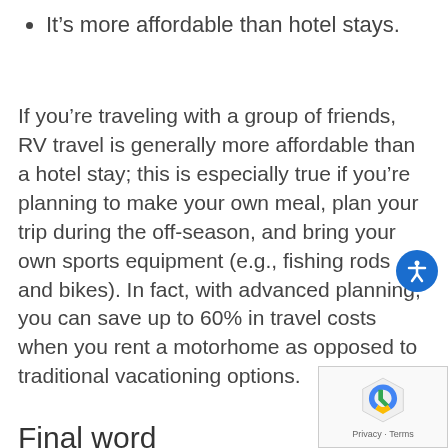It's more affordable than hotel stays.
If you're traveling with a group of friends, RV travel is generally more affordable than a hotel stay; this is especially true if you're planning to make your own meal, plan your trip during the off-season, and bring your own sports equipment (e.g., fishing rods and bikes). In fact, with advanced planning, you can save up to 60% in travel costs when you rent a motorhome as opposed to traditional vacationing options.
Final word